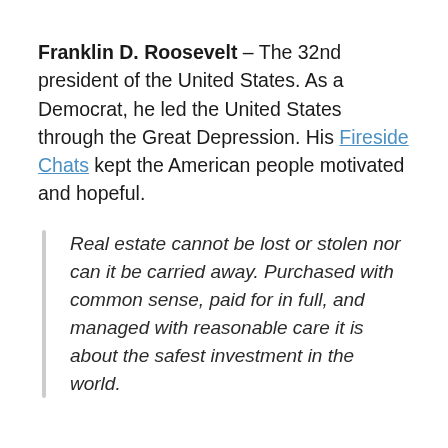Franklin D. Roosevelt – The 32nd president of the United States. As a Democrat, he led the United States through the Great Depression. His Fireside Chats kept the American people motivated and hopeful.
Real estate cannot be lost or stolen nor can it be carried away. Purchased with common sense, paid for in full, and managed with reasonable care it is about the safest investment in the world.